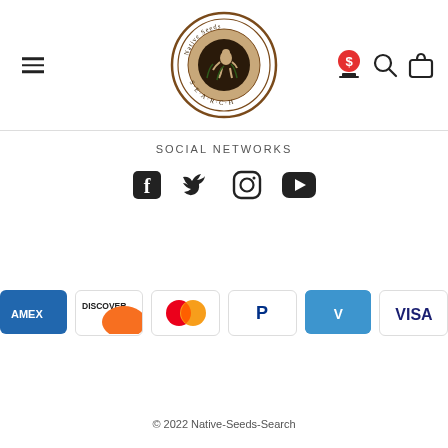[Figure (logo): Native Seeds SEARCH circular logo with a crouching figure and plants]
SOCIAL NETWORKS
[Figure (infographic): Social media icons: Facebook, Twitter, Instagram, YouTube]
[Figure (infographic): Payment method icons: AMEX, Discover, Mastercard, PayPal, Venmo, Visa]
© 2022 Native-Seeds-Search